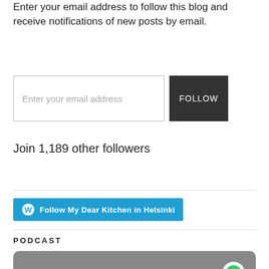Enter your email address to follow this blog and receive notifications of new posts by email.
[Figure (screenshot): Email input field with placeholder 'Enter your email address' and a dark 'FOLLOW' button]
Join 1,189 other followers
[Figure (other): Blue button: Follow My Dear Kitchen in Helsinki with WordPress icon]
PODCAST
[Figure (screenshot): Spotify podcast widget with gray background and Spotify logo in the top right corner]